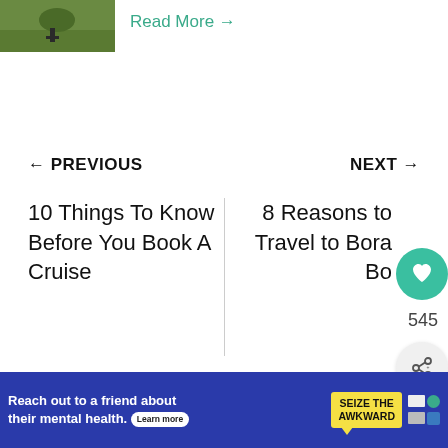[Figure (photo): Partial view of a green field with a person, top-left corner]
Read More →
← PREVIOUS
NEXT →
10 Things To Know Before You Book A Cruise
8 Reasons to Travel to Bora Bo…
545
WHAT'S NEXT → Best Things to Do in Cornw...
Search
Reach out to a friend about their mental health. Learn more  SEIZE THE AWKWARD